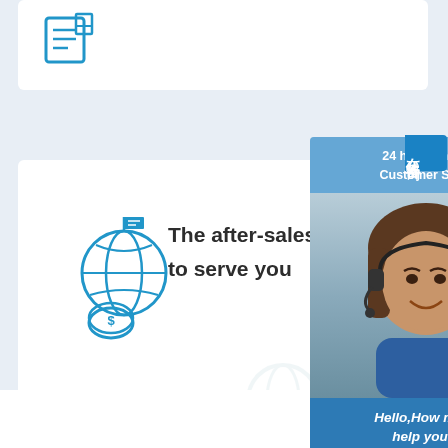[Figure (illustration): Blue outline icon of a globe with money/flag, partially visible at top of page]
[Figure (illustration): White card with blue globe-money icon and text: The after-sales team con... to serve you; watermark ghost globe icon in background]
The after-sales team con to serve you
[Figure (screenshot): Live chat widget panel: '24 hour Online Customer Supp...' header, photo of smiling woman with headset, 'Hello,How may I help you ?' text, orange 'Chat Now' button]
24 hour Online Customer Supp
Hello,How may I help you ?
Chat Now
[Figure (other): Chinese vertical tab button with text: 在线咨询]